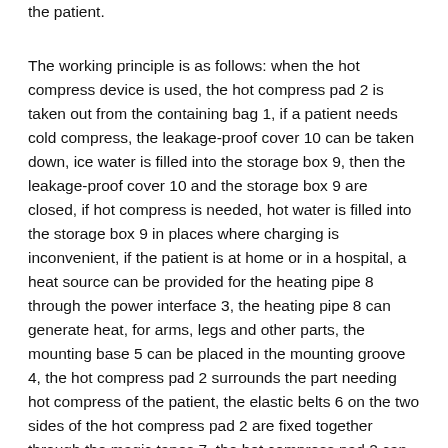the patient.
The working principle is as follows: when the hot compress device is used, the hot compress pad 2 is taken out from the containing bag 1, if a patient needs cold compress, the leakage-proof cover 10 can be taken down, ice water is filled into the storage box 9, then the leakage-proof cover 10 and the storage box 9 are closed, if hot compress is needed, hot water is filled into the storage box 9 in places where charging is inconvenient, if the patient is at home or in a hospital, a heat source can be provided for the heating pipe 8 through the power interface 3, the heating pipe 8 can generate heat, for arms, legs and other parts, the mounting base 5 can be placed in the mounting groove 4, the hot compress pad 2 surrounds the part needing hot compress of the patient, the elastic belts 6 on the two sides of the hot compress pad 2 are fixed together through the magic tapes 7, the hot compress pad 2 can be attached to the periphery of the body of the patient to carry out hot compress on the affected part, and for the back part to be heated, The length of the elastic band 6 is not enough at the positions of the abdomen and the like, the hot compress pad 2 cannot be directly fixed, the snap